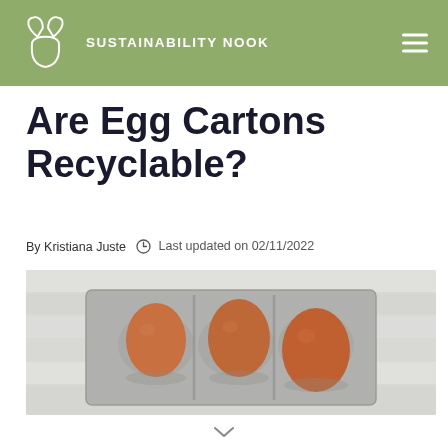SUSTAINABILITY NOOK
Are Egg Cartons Recyclable?
By Kristiana Juste   Last updated on 02/11/2022
[Figure (photo): Brown eggs sitting in an open grey papier-mache egg carton on a white wooden surface]